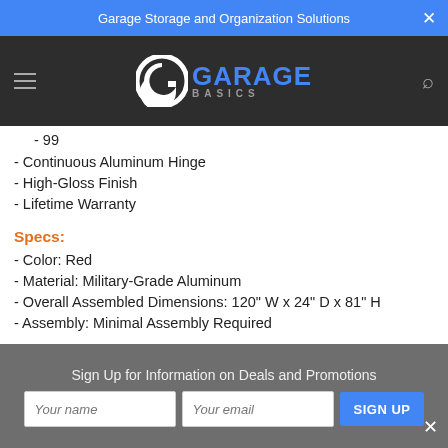Garage Storage and Organization Solutions
[Figure (logo): Garage Basics logo with stylized G and blue GARAGE BASICS text on dark background]
- 99
- Continuous Aluminum Hinge
- High-Gloss Finish
- Lifetime Warranty
Specs:
- Color: Red
- Material: Military-Grade Aluminum
- Overall Assembled Dimensions: 120" W x 24" D x 81" H
- Assembly: Minimal Assembly Required
Sign Up for Information on Deals and Promotions